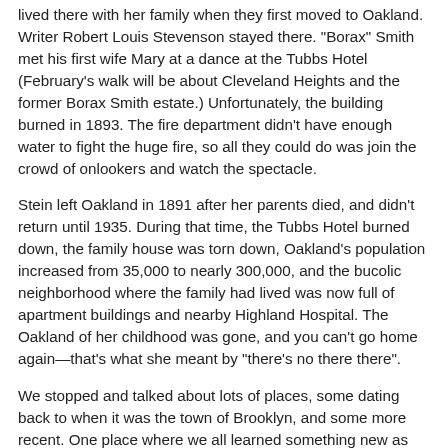lived there with her family when they first moved to Oakland. Writer Robert Louis Stevenson stayed there. "Borax" Smith met his first wife Mary at a dance at the Tubbs Hotel (February's walk will be about Cleveland Heights and the former Borax Smith estate.) Unfortunately, the building burned in 1893. The fire department didn't have enough water to fight the huge fire, so all they could do was join the crowd of onlookers and watch the spectacle.
Stein left Oakland in 1891 after her parents died, and didn't return until 1935. During that time, the Tubbs Hotel burned down, the family house was torn down, Oakland's population increased from 35,000 to nearly 300,000, and the bucolic neighborhood where the family had lived was now full of apartment buildings and nearby Highland Hospital. The Oakland of her childhood was gone, and you can't go home again—that's what she meant by "there's no there there".
We stopped and talked about lots of places, some dating back to when it was the town of Brooklyn, and some more recent. One place where we all learned something new as the Vue du Lac Apartments at the corner of Foothill and 3rd Avenue. The building was constructed in 1906 by Charles...